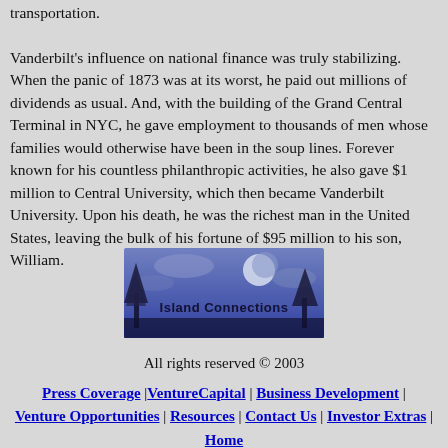transportation.

Vanderbilt's influence on national finance was truly stabilizing. When the panic of 1873 was at its worst, he paid out millions of dividends as usual. And, with the building of the Grand Central Terminal in NYC, he gave employment to thousands of men whose families would otherwise have been in the soup lines. Forever known for his countless philanthropic activities, he also gave $1 million to Central University, which then became Vanderbilt University. Upon his death, he was the richest man in the United States, leaving the bulk of his fortune of $95 million to his son, William.
[Figure (logo): Island Connections logo — blue/purple night sky with moon and trees, text 'Island Connections']
All rights reserved © 2003
Press Coverage | VentureCapital | Business Development | Venture Opportunities | Resources | Contact Us | Investor Extras | Home